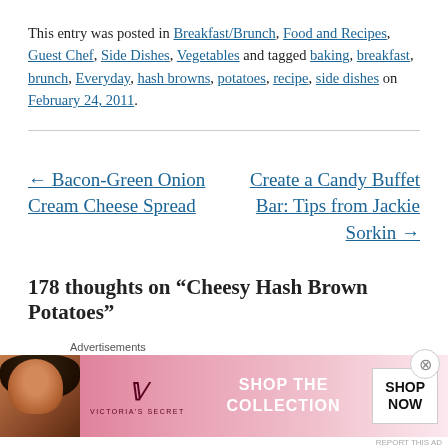This entry was posted in Breakfast/Brunch, Food and Recipes, Guest Chef, Side Dishes, Vegetables and tagged baking, breakfast, brunch, Everyday, hash browns, potatoes, recipe, side dishes on February 24, 2011.
← Bacon-Green Onion Cream Cheese Spread    Create a Candy Buffet Bar: Tips from Jackie Sorkin →
178 thoughts on “Cheesy Hash Brown Potatoes”
[Figure (other): Victoria's Secret advertisement banner with a model, VS logo, 'SHOP THE COLLECTION' text, and 'SHOP NOW' button]